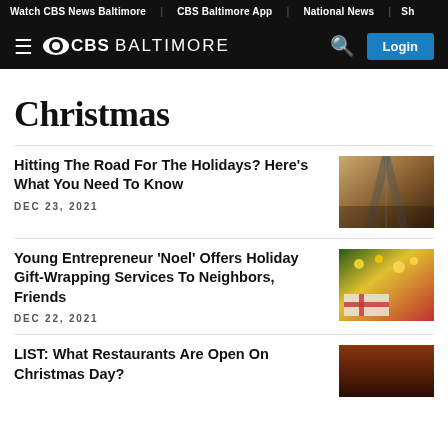Watch CBS News Baltimore | CBS Baltimore App | National News | Sh
CBS BALTIMORE  [search] [Login]
Christmas
Hitting The Road For The Holidays? Here's What You Need To Know
DEC 23, 2021
Young Entrepreneur 'Noel' Offers Holiday Gift-Wrapping Services To Neighbors, Friends
DEC 22, 2021
LIST: What Restaurants Are Open On Christmas Day?